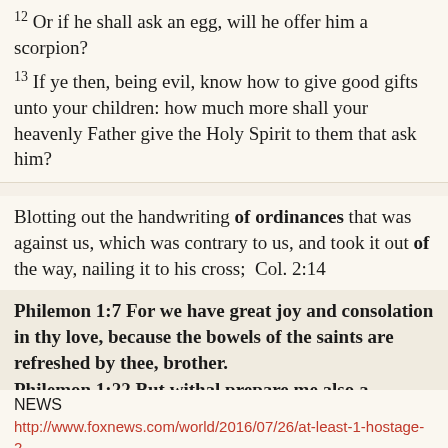12 Or if he shall ask an egg, will he offer him a scorpion?
13 If ye then, being evil, know how to give good gifts unto your children: how much more shall your heavenly Father give the Holy Spirit to them that ask him?
Blotting out the handwriting of ordinances that was against us, which was contrary to us, and took it out of the way, nailing it to his cross;  Col. 2:14
Philemon 1:7 For we have great joy and consolation in thy love, because the bowels of the saints are refreshed by thee, brother. Philemon 1:22 But withal prepare me also a lodging: for I trust that through your prayers I shall be given unto you.
NEWS
http://www.foxnews.com/world/2016/07/26/at-least-1-hostage-2-